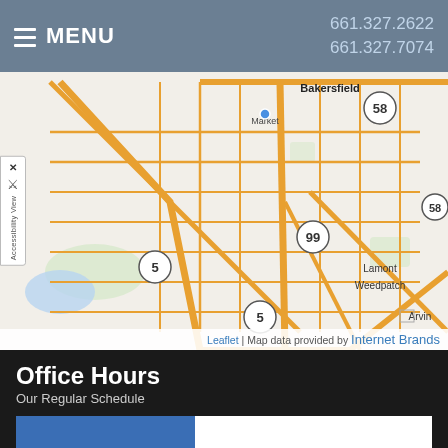≡ MENU  661.327.2622  661.327.7074
[Figure (map): Street map of Bakersfield, California area showing highways 58, 99, 5, and surrounding areas including Lamont, Weedpatch, and Arvin. Map credit: Leaflet | Map data provided by Internet Brands.]
Office Hours
Our Regular Schedule
| Day | Hours |
| --- | --- |
| Monday: | 8:30 am-6:00 pm |
| Tuesday: | 8:30 am-6:00 pm |